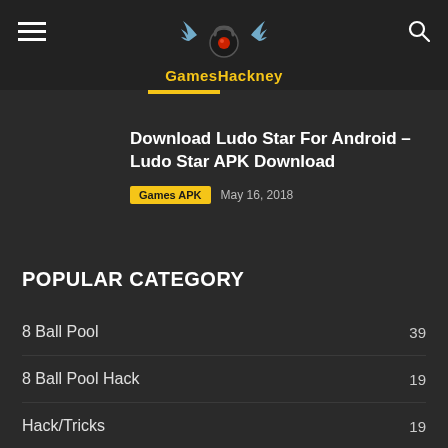[Figure (logo): GamesHackney logo with winged kettlebell icon and yellow text]
Download Ludo Star For Android – Ludo Star APK Download
Games APK   May 16, 2018
POPULAR CATEGORY
8 Ball Pool  39
8 Ball Pool Hack  19
Hack/Tricks  19
Games APK  15
Videos  14